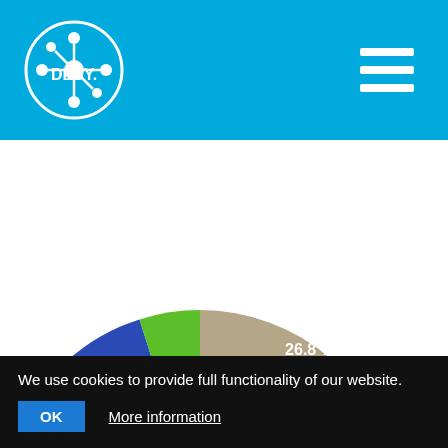DESY
[Figure (pie-chart): Composition of the Universe]
We use cookies to provide full functionality of our website.
OK   More information